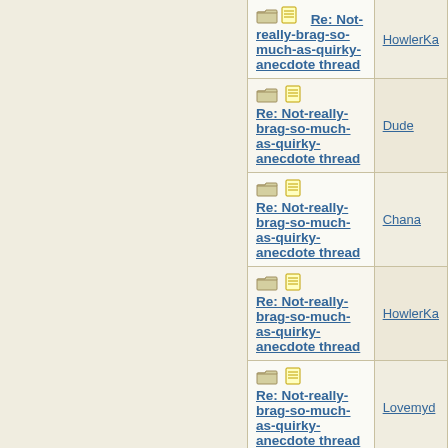| Topic | Author |
| --- | --- |
| Re: Not-really-brag-so-much-as-quirky-anecdote thread | HowlerKa |
| Re: Not-really-brag-so-much-as-quirky-anecdote thread | Dude |
| Re: Not-really-brag-so-much-as-quirky-anecdote thread | Chana |
| Re: Not-really-brag-so-much-as-quirky-anecdote thread | HowlerKa |
| Re: Not-really-brag-so-much-as-quirky-anecdote thread | Lovemyd |
| Re: Not-really-brag-so-much-as-quirky-anecdote thread | HowlerKa |
| Re: Not-really-brag-so-much-as-quirky-anecdote thread |  |